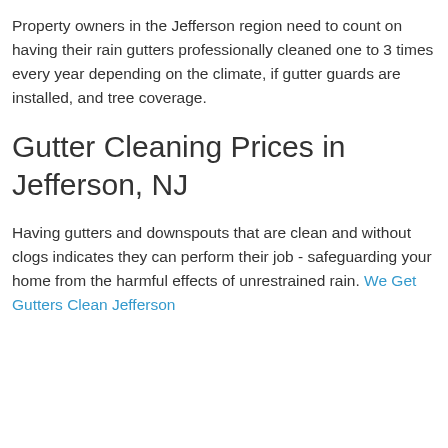gutter cleaning usually. The price range per measured foot of rain gutter cleaning is typically from $1.50 to $2.25.
Property owners in the Jefferson region need to count on having their rain gutters professionally cleaned one to 3 times every year depending on the climate, if gutter guards are installed, and tree coverage.
Gutter Cleaning Prices in Jefferson, NJ
Having gutters and downspouts that are clean and without clogs indicates they can perform their job - safeguarding your home from the harmful effects of unrestrained rain. We Get Gutters Clean Jefferson